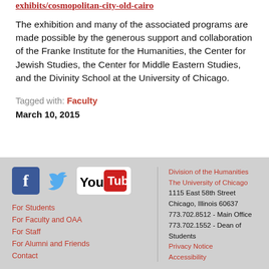exhibits/cosmopolitan-city-old-cairo
The exhibition and many of the associated programs are made possible by the generous support and collaboration of the Franke Institute for the Humanities, the Center for Jewish Studies, the Center for Middle Eastern Studies, and the Divinity School at the University of Chicago.
Tagged with: Faculty
March 10, 2015
Division of the Humanities
The University of Chicago
1115 East 58th Street
Chicago, Illinois 60637
773.702.8512 - Main Office
773.702.1552 - Dean of Students
Privacy Notice
Accessibility
For Students
For Faculty and OAA
For Staff
For Alumni and Friends
Contact